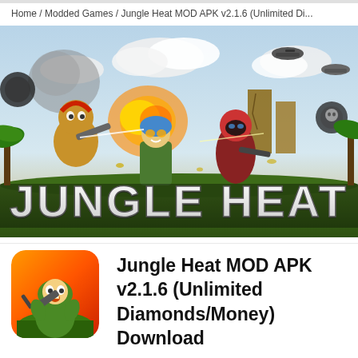Home / Modded Games / Jungle Heat MOD APK v2.1.6 (Unlimited Di...
[Figure (illustration): Jungle Heat game banner showing cartoon soldiers in a jungle battle scene with explosions and helicopters. Text 'JUNGLE HEAT' displayed prominently at the bottom of the banner.]
[Figure (illustration): Jungle Heat app icon showing a cartoon soldier in green holding a weapon, with an orange/red gradient background and rounded corners.]
Jungle Heat MOD APK v2.1.6 (Unlimited Diamonds/Money) Download